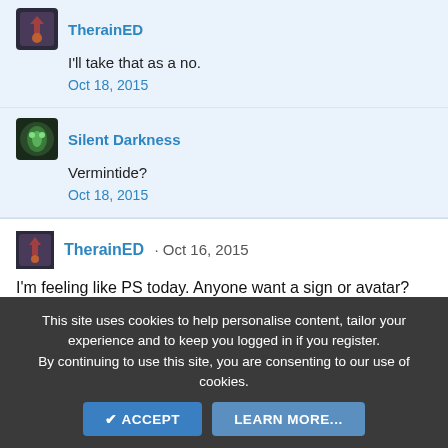TherainED
I'll take that as a no.
Oct 18, 2015
Silent Darkness
Vermintide?
Oct 18, 2015
TherainED · Oct 16, 2015
I'm feeling like PS today. Anyone want a sign or avatar?
View previous comments...
TherainED
Mind giving me some guidelines? Because I'm feeling neon today. [see current avatar for further
This site uses cookies to help personalise content, tailor your experience and to keep you logged in if you register.
By continuing to use this site, you are consenting to our use of cookies.
ACCEPT
LEARN MORE...